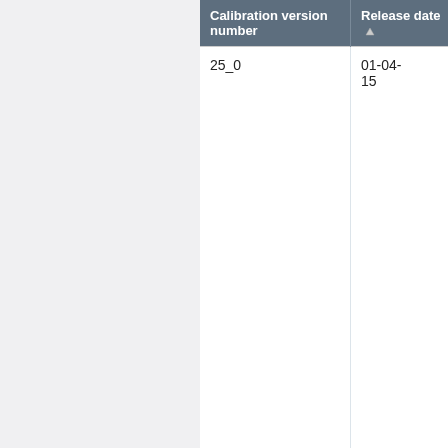| Calibration version number | Release date | CD v |
| --- | --- | --- |
| 25_0 | 01-04-15 |  |
| 18_0 | 02-07-14 |  |